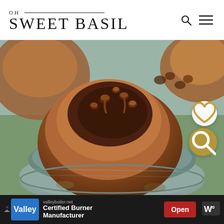OH SWEET BASIL
[Figure (photo): Close-up of a chocolate chip muffin in a metal muffin tin, with melted chocolate chips on top, shot in moody food photography style]
[Figure (infographic): Advertisement bar for valleyboiler.net - Certified Burner Manufacturer with Valley logo, Open button, and W icon]